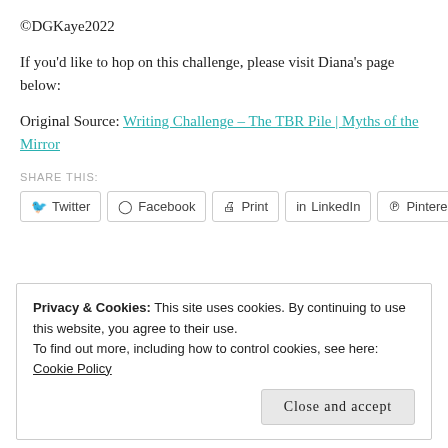©DGKaye2022
If you'd like to hop on this challenge, please visit Diana's page below:
Original Source: Writing Challenge – The TBR Pile | Myths of the Mirror
SHARE THIS:
Twitter  Facebook  Print  LinkedIn  Pinterest
Privacy & Cookies: This site uses cookies. By continuing to use this website, you agree to their use.
To find out more, including how to control cookies, see here: Cookie Policy
Close and accept